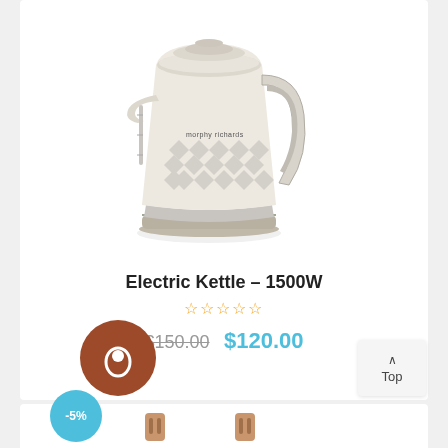[Figure (photo): Cream/beige Morphy Richards electric kettle with diamond-textured body and chrome base, shown on white background]
Electric Kettle – 1500W
★★★★★ (star rating, empty/outline stars)
$150.00  $120.00
[Figure (logo): Brown circular icon with white flame/droplet symbol]
[Figure (other): Top navigation button with chevron up and 'Top' label]
[Figure (other): Partial bottom card with cyan -5% badge and two small product thumbnails]